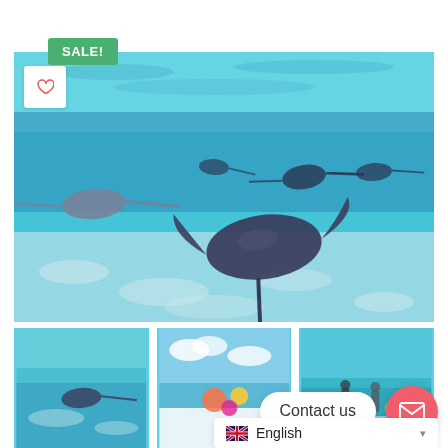SALE!
[Figure (photo): Underwater photo of stingrays swimming in clear shallow turquoise water with sandy bottom and light patterns]
[Figure (photo): Thumbnail: Underwater turquoise water scene]
[Figure (photo): Thumbnail: Tropical beach with colorful floats]
[Figure (photo): Thumbnail: Tropical scene with people]
Contact us
English